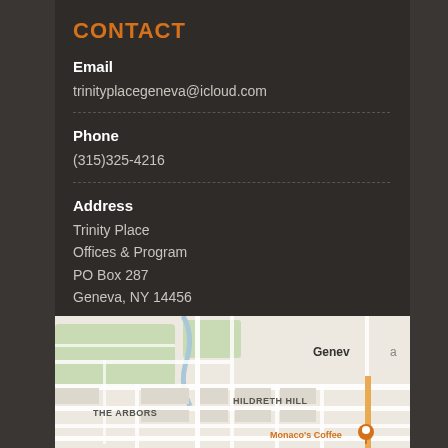CONTACT
Email
trinityplacegeneva@icloud.com
Phone
(315)325-4216
Address
Trinity Place
Offices & Program
PO Box 287
Geneva, NY 14456
[Figure (map): Google Maps view showing Geneva, NY area with neighborhoods labeled: THE ARBORS, HILDRETH HILL, Geneva. Monaco's Coffee location visible with orange map pin.]